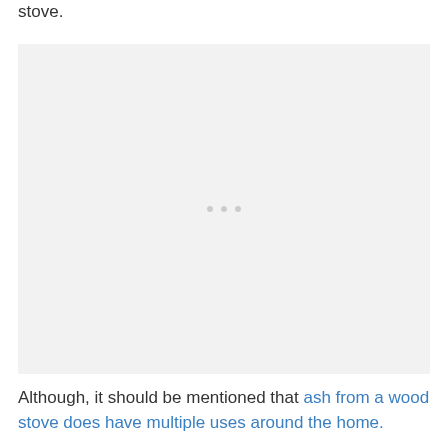stove.
[Figure (photo): Image placeholder with light gray background and three gray dots in the center]
Although, it should be mentioned that ash from a wood stove does have multiple uses around the home.